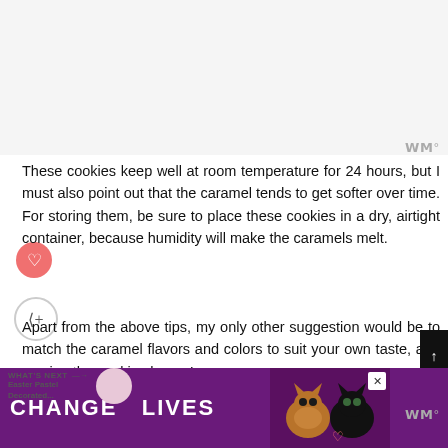[Figure (other): Grey/white shaded area at top of page, likely an image placeholder or cropped photo area]
These cookies keep well at room temperature for 24 hours, but I must also point out that the caramel tends to get softer over time. For storing them, be sure to place these cookies in a dry, airtight container, because humidity will make the caramels melt.
Apart from the above tips, my only other suggestion would be to match the caramel flavors and colors to suit your own taste, and varying the cookie shapes!
[Figure (infographic): WHAT'S NEXT → Easter Pastel Decorated... promotional snippet with circular thumbnail image]
[Figure (other): Advertisement banner with purple background, two cats, and text CHANGE LIVES with a heart icon and close button]